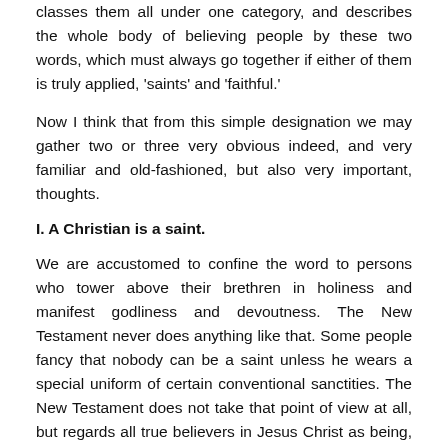classes them all under one category, and describes the whole body of believing people by these two words, which must always go together if either of them is truly applied, 'saints' and 'faithful.'
Now I think that from this simple designation we may gather two or three very obvious indeed, and very familiar and old-fashioned, but also very important, thoughts.
I. A Christian is a saint.
We are accustomed to confine the word to persons who tower above their brethren in holiness and manifest godliness and devoutness. The New Testament never does anything like that. Some people fancy that nobody can be a saint unless he wears a special uniform of certain conventional sanctities. The New Testament does not take that point of view at all, but regards all true believers in Jesus Christ as being, therein and thereby, saints.
Now, what does it mean by that? The word at bottom simply signifies separation. Whatever is told off from a mass for a